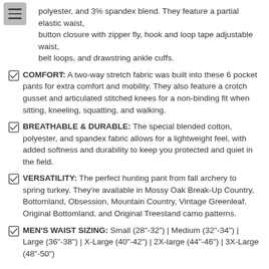polyester, and 3% spandex blend. They feature a partial elastic waist, button closure with zipper fly, hook and loop tape adjustable waist, belt loops, and drawstring ankle cuffs.
COMFORT: A two-way stretch fabric was built into these 6 pocket pants for extra comfort and mobility. They also feature a crotch gusset and articulated stitched knees for a non-binding fit when sitting, kneeling, squatting, and walking.
BREATHABLE & DURABLE: The special blended cotton, polyester, and spandex fabric allows for a lightweight feel, with added softness and durability to keep you protected and quiet in the field.
VERSATILITY: The perfect hunting pant from fall archery to spring turkey. They're available in Mossy Oak Break-Up Country, Bottomland, Obsession, Mountain Country, Vintage Greenleaf, Original Bottomland, and Original Treestand camo patterns.
MEN'S WAIST SIZING: Small (28"-32") | Medium (32"-34") | Large (36"-38") | X-Large (40"-42") | 2X-large (44"-46") | 3X-Large (48"-50")